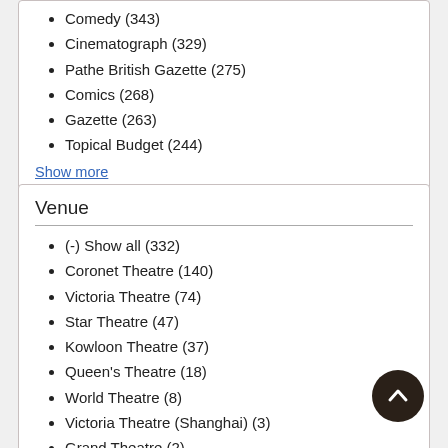Comedy (343)
Cinematograph (329)
Pathe British Gazette (275)
Comics (268)
Gazette (263)
Topical Budget (244)
Show more
Venue
(-) Show all (332)
Coronet Theatre (140)
Victoria Theatre (74)
Star Theatre (47)
Kowloon Theatre (37)
Queen's Theatre (18)
World Theatre (8)
Victoria Theatre (Shanghai) (3)
Grand Theatre (2)
Olympic Theatre (Shanghai) (2)
Show more